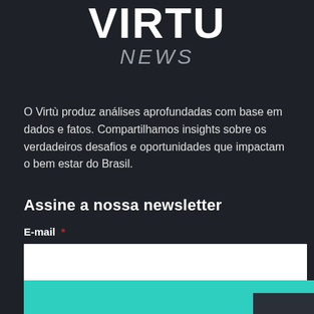VIRTU NEWS
O Virtù produz análises aprofundadas com base em dados e fatos. Compartilhamos insights sobre os verdadeiros desafios e oportunidades que impactam o bem estar do Brasil.
Assine a nossa newsletter
E-mail *
ENVIAR